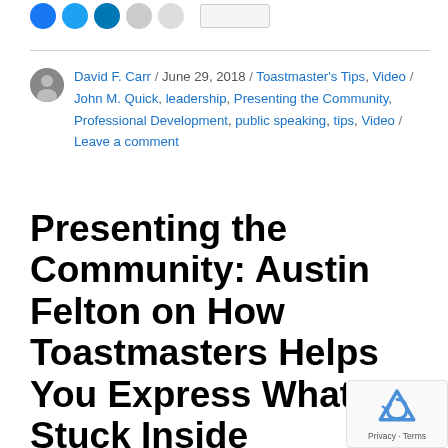[Figure (other): Social share buttons: blue and teal circular icons and two grey circular icons, plus a button]
David F. Carr / June 29, 2018 / Toastmaster's Tips, Video / John M. Quick, leadership, Presenting the Community, Professional Development, public speaking, tips, Video / Leave a comment
Presenting the Community: Austin Felton on How Toastmasters Helps You Express What's Stuck Inside
[Figure (other): reCAPTCHA badge with Privacy · Terms text]